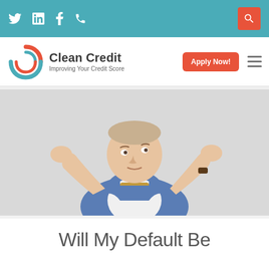Twitter, LinkedIn, Facebook, Phone, Search — Navigation icons
[Figure (logo): Clean Credit logo with circular arrow icon in red and teal, company name 'Clean Credit' and tagline 'Improving Your Credit Score', with an orange 'Apply Now!' button and hamburger menu]
[Figure (photo): Young man in blue denim shirt over white t-shirt making a shrugging gesture with both hands raised, looking upward, against a light grey background]
Will My Default Be